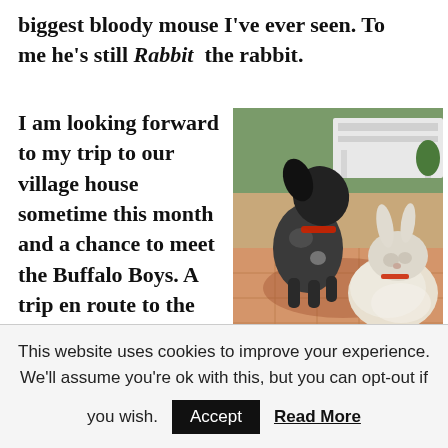biggest bloody mouse I've ever seen. To me he's still Rabbit the rabbit.
I am looking forward to my trip to our village house sometime this month and a chance to meet the Buffalo Boys. A trip en route to the village will involve a stop at
[Figure (photo): A dog and a rabbit sitting together on a tiled floor indoors, with a white wooden bench/table visible in the background and greenery outside.]
This website uses cookies to improve your experience. We'll assume you're ok with this, but you can opt-out if you wish. Accept Read More